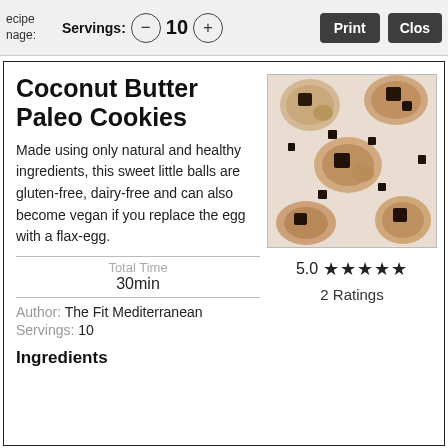ecipe
nage:
Servings: 10
Print  Close
Coconut Butter Paleo Cookies
Made using only natural and healthy ingredients, this sweet little balls are gluten-free, dairy-free and can also become vegan if you replace the egg with a flax-egg.
Total Time
30min
Author: The Fit Mediterranean
Servings: 10
[Figure (photo): Photo of coconut butter paleo cookies with chocolate chunks on a white surface]
5.0 ★★★★★
2 Ratings
Ingredients